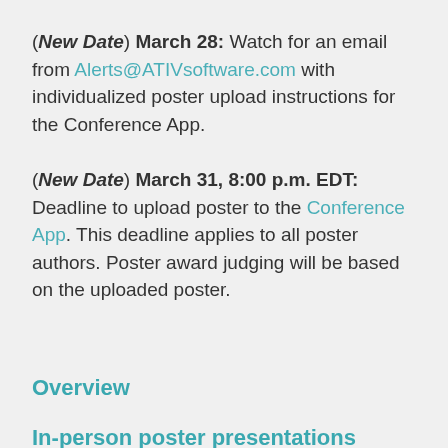(New Date) March 28: Watch for an email from Alerts@ATIVsoftware.com with individualized poster upload instructions for the Conference App.
(New Date) March 31, 8:00 p.m. EDT: Deadline to upload poster to the Conference App. This deadline applies to all poster authors. Poster award judging will be based on the uploaded poster.
Overview
In-person poster presentations